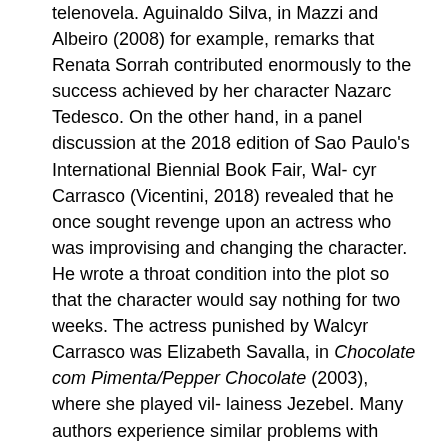telenovela. Aguinaldo Silva, in Mazzi and Albeiro (2008) for example, remarks that Renata Sorrah contributed enormously to the success achieved by her character Nazarc Tedesco. On the other hand, in a panel discussion at the 2018 edition of Sao Paulo's International Biennial Book Fair, Wal- cyr Carrasco (Vicentini, 2018) revealed that he once sought revenge upon an actress who was improvising and changing the character. He wrote a throat condition into the plot so that the character would say nothing for two weeks. The actress punished by Walcyr Carrasco was Elizabeth Savalla, in Chocolate com Pimenta/Pepper Chocolate (2003), where she played villainess Jezebel. Many authors experience similar problems with actors who do not accept the fates of their characters, despite the director's mediation. On the one hand, the actor is on the air, and it is difficult to subtract him from the plot from one minute to the next, particularly if the viewing audience has taken a liking for him or her; on the other hand, the telenovela is an extensive work in which anything